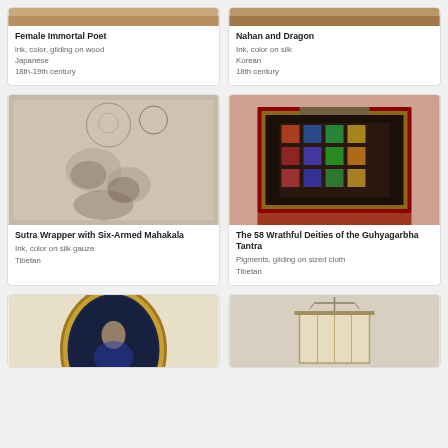[Figure (photo): Partial top of artwork card for Female Immortal Poet]
Female Immortal Poet
ink, color, gilding on wood
Japanese
18th-19th century
[Figure (photo): Partial top of artwork card for Nahan and Dragon]
Nahan and Dragon
Ink, color on silk
Korean
18th century
[Figure (photo): Sutra Wrapper with Six-Armed Mahakala artwork image - ink drawing on silk gauze, Tibetan]
Sutra Wrapper with Six-Armed Mahakala
Ink, color on silk gauze
Tibetan
[Figure (photo): The 58 Wrathful Deities of the Guhyagarbha Tantra - pigments and gilding on sized cloth, Tibetan]
The 58 Wrathful Deities of the Guhyagarbha Tantra
Pigments, gilding on sized cloth
Tibetan
[Figure (photo): Oval framed painting with gold frame, partial view]
[Figure (photo): Lantern or suspended object on stand, partial view]